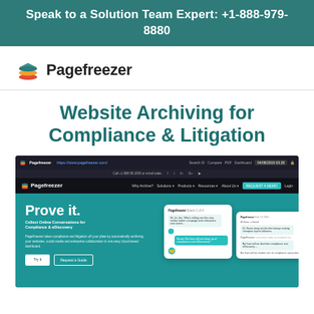Speak to a Solution Team Expert: +1-888-979-8880
[Figure (logo): Pagefreezer logo with stacked layers icon and bold text 'Pagefreezer']
Website Archiving for Compliance & Litigation
[Figure (screenshot): Screenshot of the Pagefreezer website showing the 'Prove it.' hero section with navigation bar, headline, subheadline 'Collect Online Conversations for Compliance & eDiscovery', body text, Try It and Request a Guide buttons, and chat conversation card mockups on a teal background.]